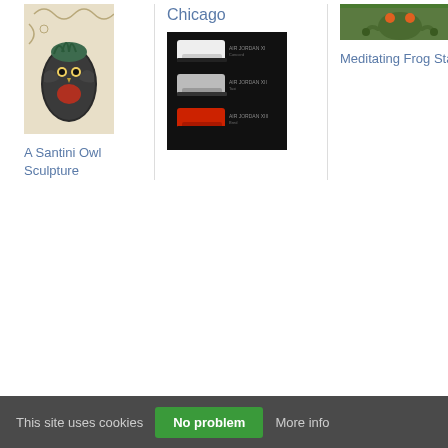[Figure (photo): An owl sculpture with dark feathers and red/orange accents, Santini style, on a beige background with decorative scrollwork]
A Santini Owl Sculpture
Chicago
[Figure (photo): Air Jordan sneakers product catalog image on black background showing three pairs of white, grey, and red/black shoes]
[Figure (photo): Meditating frog statue with orange accents on green background]
Meditating Frog Statue
This site uses cookies · No problem · More info